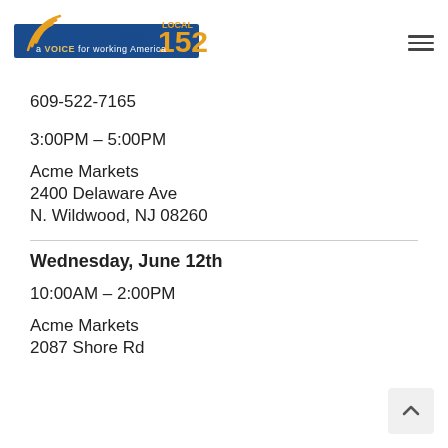UFCW Local 152 – a VOICE for working America
609-522-7165
3:00PM – 5:00PM
Acme Markets
2400 Delaware Ave
N. Wildwood, NJ 08260
Wednesday, June 12th
10:00AM – 2:00PM
Acme Markets
2087 Shore Rd